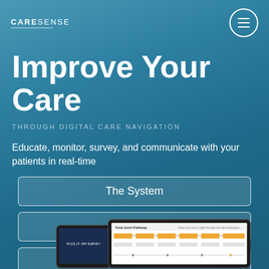CARESENSE
Improve Your Care
THROUGH DIGITAL CARE NAVIGATION
Educate, monitor, survey, and communicate with your patients in real-time
The System
Benefits
Request Demo
[Figure (screenshot): Screenshot of CareSense application shown on tablet and phone devices at the bottom of the page, including a 'Total Joint Pathway' interface with flowchart elements]